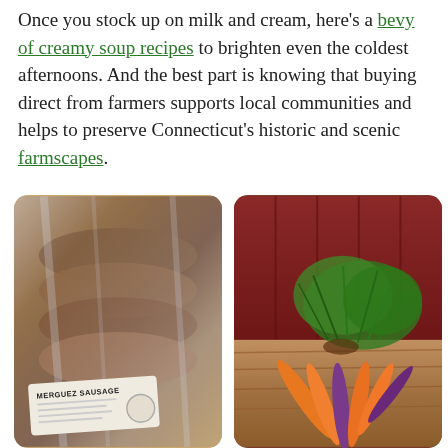Once you stock up on milk and cream, here's a bevy of creamy soup recipes to brighten even the coldest afternoons. And the best part is knowing that buying direct from farmers supports local communities and helps to preserve Connecticut's historic and scenic farmscapes.
[Figure (photo): Packaged Merguez sausage in clear plastic wrap with a white label reading 'MERGUEZ SAUSAGE']
[Figure (photo): A bunch of colorful carrots (orange and purple) with green tops laid on a wooden surface against a dark red barn wall]